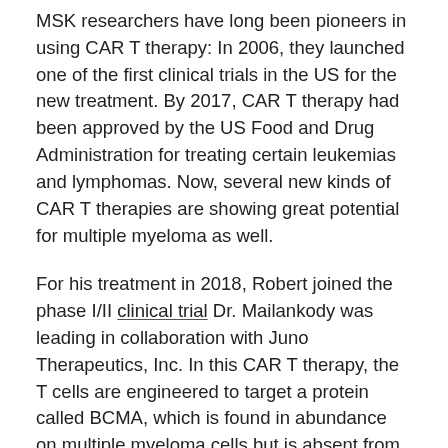MSK researchers have long been pioneers in using CAR T therapy: In 2006, they launched one of the first clinical trials in the US for the new treatment. By 2017, CAR T therapy had been approved by the US Food and Drug Administration for treating certain leukemias and lymphomas. Now, several new kinds of CAR T therapies are showing great potential for multiple myeloma as well.
For his treatment in 2018, Robert joined the phase I/II clinical trial Dr. Mailankody was leading in collaboration with Juno Therapeutics, Inc. In this CAR T therapy, the T cells are engineered to target a protein called BCMA, which is found in abundance on multiple myeloma cells but is absent from nearly all normal cells. Two similar trials are in progress at MSK, with slightly different